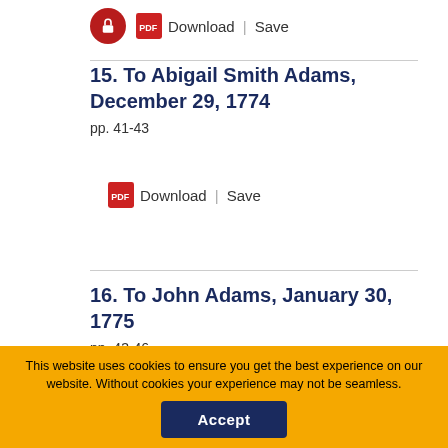[Figure (other): Lock icon with Download and Save links at top of page]
15. To Abigail Smith Adams, December 29, 1774
pp. 41-43
[Figure (other): Lock icon with Download and Save links for entry 15]
16. To John Adams, January 30, 1775
pp. 43-46
[Figure (other): Lock icon with Download and Save links for entry 16]
This website uses cookies to ensure you get the best experience on our website. Without cookies your experience may not be seamless.